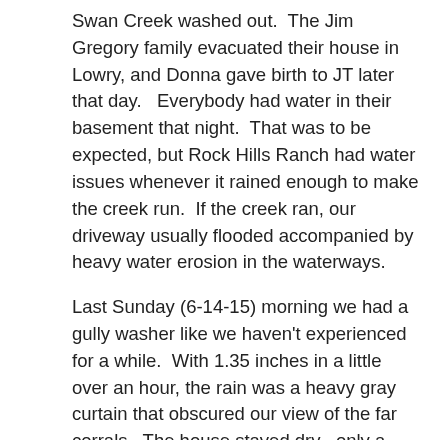Swan Creek washed out.  The Jim Gregory family evacuated their house in Lowry, and Donna gave birth to JT later that day.   Everybody had water in their basement that night.  That was to be expected, but Rock Hills Ranch had water issues whenever it rained enough to make the creek run.  If the creek ran, our driveway usually flooded accompanied by heavy water erosion in the waterways.
Last Sunday (6-14-15) morning we had a gully washer like we haven't experienced for a while.  With 1.35 inches in a little over an hour, the rain was a heavy gray curtain that obscured our view of the far corrals.  The house stayed dry –only a rain of Noah like proportions will flood the basement of this house. The creek ran wide.  A few years ago we wouldn't have gotten to church because the creek would have run over the driveway.  It wasn't on Sunday. The culvert by the mailbox should have been